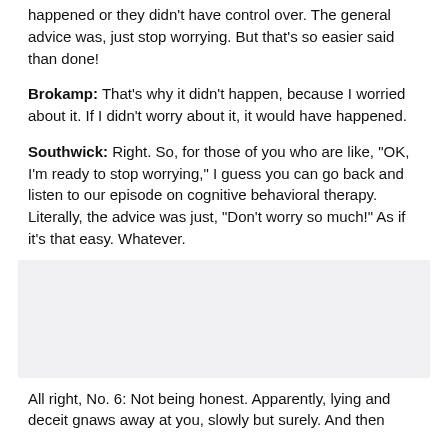happened or they didn't have control over. The general advice was, just stop worrying. But that's so easier said than done!
Brokamp: That's why it didn't happen, because I worried about it. If I didn't worry about it, it would have happened.
Southwick: Right. So, for those of you who are like, "OK, I'm ready to stop worrying," I guess you can go back and listen to our episode on cognitive behavioral therapy. Literally, the advice was just, "Don't worry so much!" As if it's that easy. Whatever.
[Figure (other): Gray rectangular placeholder box]
All right, No. 6: Not being honest. Apparently, lying and deceit gnaws away at you, slowly but surely. And then